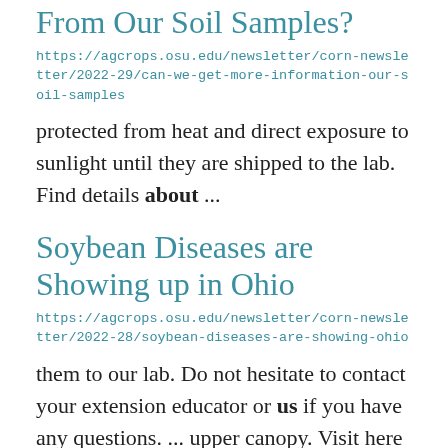From Our Soil Samples?
https://agcrops.osu.edu/newsletter/corn-newsletter/2022-29/can-we-get-more-information-our-soil-samples
protected from heat and direct exposure to sunlight until they are shipped to the lab. Find details about ...
Soybean Diseases are Showing up in Ohio
https://agcrops.osu.edu/newsletter/corn-newsletter/2022-28/soybean-diseases-are-showing-ohio
them to our lab. Do not hesitate to contact your extension educator or us if you have any questions. ... upper canopy. Visit here for more information about what is published ...